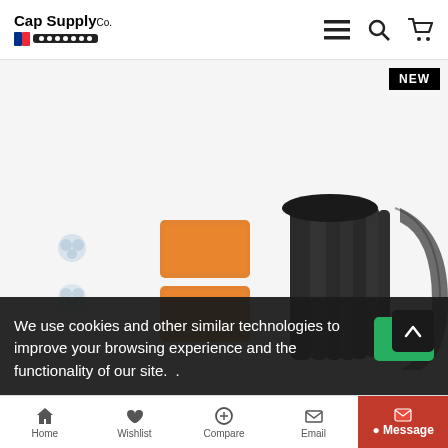Cap Supply Co.
[Figure (photo): Product photo showing orange foam pads, black rubber strips/tubes bundled together, and a curved dark gray piece, on a white background. A 'NEW' badge appears in the top right corner.]
We use cookies and other similar technologies to improve your browsing experience and the functionality of our site.
Home   Wishlist   Compare   Email   Message